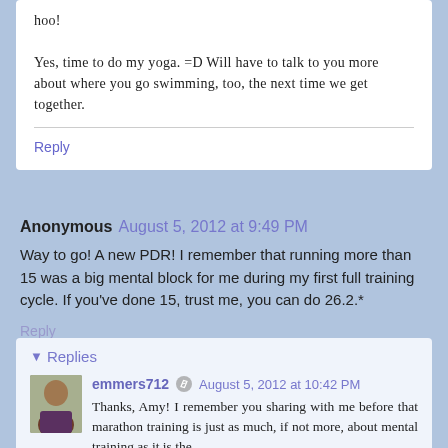hoo!

Yes, time to do my yoga. =D Will have to talk to you more about where you go swimming, too, the next time we get together.
Reply
Anonymous  August 5, 2012 at 9:49 PM
Way to go! A new PDR! I remember that running more than 15 was a big mental block for me during my first full training cycle. If you've done 15, trust me, you can do 26.2.*
Reply
▼ Replies
emmers712  August 5, 2012 at 10:42 PM
Thanks, Amy! I remember you sharing with me before that marathon training is just as much, if not more, about mental training as it is the